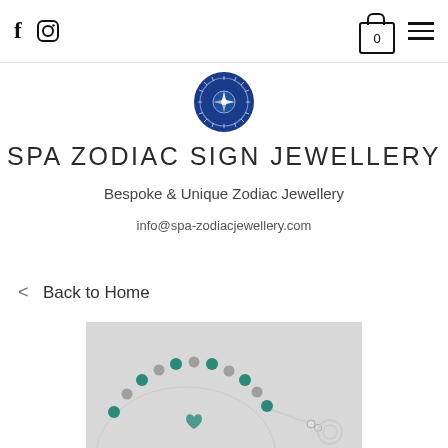f  [instagram icon]  [cart: 0]  [menu]
[Figure (logo): Circular blue logo for Spa Zodiac Sign Jewellery with compass/star design]
SPA ZODIAC SIGN JEWELLERY
Bespoke & Unique Zodiac Jewellery
info@spa-zodiacjewellery.com
< Back to Home
[Figure (photo): Close-up photo of a bracelet with teal/turquoise beads and silver charms on a light grey background]